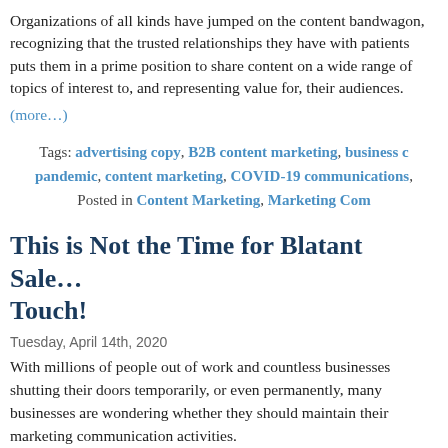Organizations of all kinds have jumped on the content bandwagon, recognizing that the trusted relationships they have with patients puts them in a prime position to share content on a wide range of topics of interest to, and representing value for, their audiences. (more…)
Tags: advertising copy, B2B content marketing, business c… pandemic, content marketing, COVID-19 communications, … Posted in Content Marketing, Marketing Com…
This is Not the Time for Blatant Sale… Touch!
Tuesday, April 14th, 2020
With millions of people out of work and countless businesses shutting their doors temporarily, or even permanently, many businesses are wondering whether they should maintain their marketing communication activities.